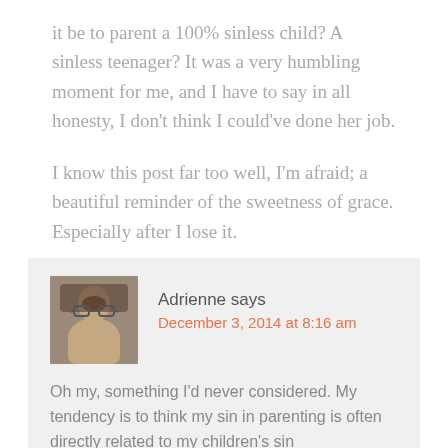it be to parent a 100% sinless child? A sinless teenager? It was a very humbling moment for me, and I have to say in all honesty, I don't think I could've done her job.
I know this post far too well, I'm afraid; a beautiful reminder of the sweetness of grace. Especially after I lose it.
Adrienne says
December 3, 2014 at 8:16 am
Oh my, something I'd never considered. My tendency is to think my sin in parenting is often directly related to my children's sin